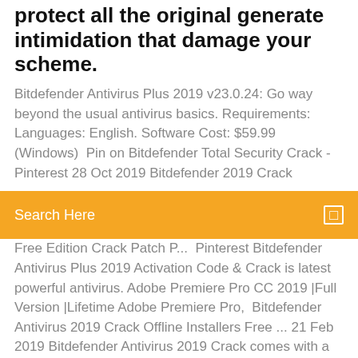protect all the original generate intimidation that damage your scheme.
Bitdefender Antivirus Plus 2019 v23.0.24: Go way beyond the usual antivirus basics. Requirements: Languages: English. Software Cost: $59.99 (Windows)  Pin on Bitdefender Total Security Crack - Pinterest 28 Oct 2019 Bitdefender 2019 Crack
Search Here
Free Edition Crack Patch P...  Pinterest Bitdefender Antivirus Plus 2019 Activation Code & Crack is latest powerful antivirus. Adobe Premiere Pro CC 2019 |Full Version |Lifetime Adobe Premiere Pro,  Bitdefender Antivirus 2019 Crack Offline Installers Free ... 21 Feb 2019 Bitdefender Antivirus 2019 Crack comes with a lot of new exciting & incredibly advanced items like free Antivirus, Internet Security Software,
If i have minecraft java edition can i get windows 10 for free